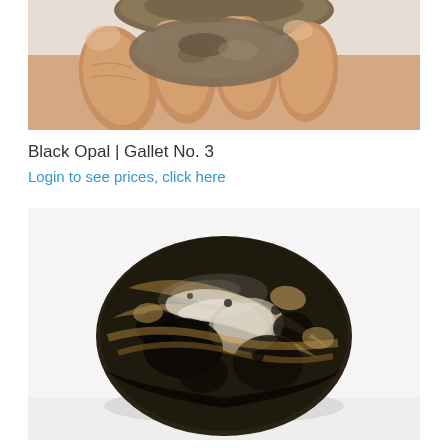[Figure (photo): Close-up of a hand holding a dark rock/opal stone, showing fingers gripping it from above against a white background.]
Black Opal | Gallet No. 3
Login to see prices, click here
[Figure (photo): A polished black opal gallet stone resting on a white surface. The stone is oval-shaped with dark black, white, and golden-brown mottled patterns. The stone has a smooth, domed top surface.]